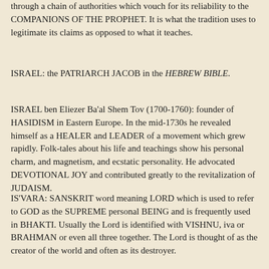through a chain of authorities which vouch for its reliability to the COMPANIONS OF THE PROPHET. It is what the tradition uses to legitimate its claims as opposed to what it teaches.
ISRAEL: the PATRIARCH JACOB in the HEBREW BIBLE.
ISRAEL ben Eliezer Ba'al Shem Tov (1700-1760): founder of HASIDISM in Eastern Europe. In the mid-1730s he revealed himself as a HEALER and LEADER of a movement which grew rapidly. Folk-tales about his life and teachings show his personal charm, and magnetism, and ecstatic personality. He advocated DEVOTIONAL JOY and contributed greatly to the revitalization of JUDAISM.
IS'VARA: SANSKRIT word meaning LORD which is used to refer to GOD as the SUPREME personal BEING and is frequently used in BHAKTI. Usually the Lord is identified with VISHNU, iva or BRAHMAN or even all three together. The Lord is thought of as the creator of the world and often as its destroyer.